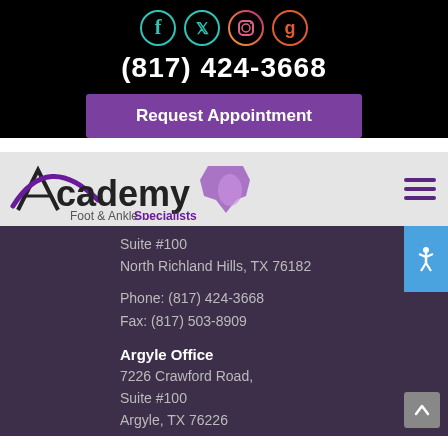[Figure (logo): Social media icons: Facebook (teal), Twitter (teal), Instagram (gradient orange/purple), Google (red/orange circle)]
(817) 424-3668
Request Appointment
[Figure (logo): Academy Foot & Ankle Specialists logo with Texas state outline in purple]
Suite #100
North Richland Hills, TX 76182
Phone: (817) 424-3668
Fax: (817) 503-8909
Argyle Office
7226 Crawford Road,
Suite #100
Argyle, TX 76226
Phone: (817) 424-3668
Fax: (817) 442-8637